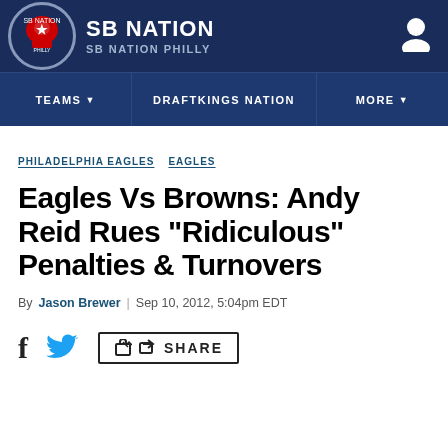SB NATION / SB NATION PHILLY
TEAMS | DRAFTKINGS NATION | MORE
PHILADELPHIA EAGLES  EAGLES
Eagles Vs Browns: Andy Reid Rues "Ridiculous" Penalties & Turnovers
By Jason Brewer | Sep 10, 2012, 5:04pm EDT
f  [twitter]  [share icon] SHARE